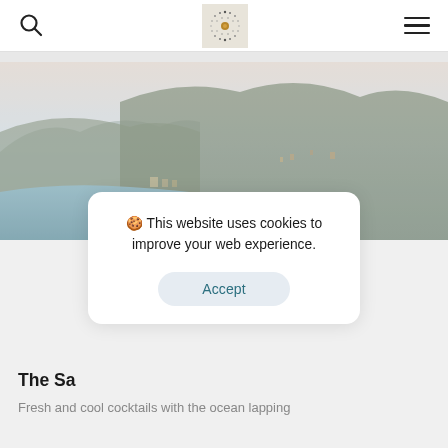Search | Logo | Menu
[Figure (photo): Aerial coastal view of a town nestled between mountains and the sea, with a pier visible and hazy sky]
🍪 This website uses cookies to improve your web experience.
Accept
The Sa
Fresh and cool cocktails with the ocean lapping